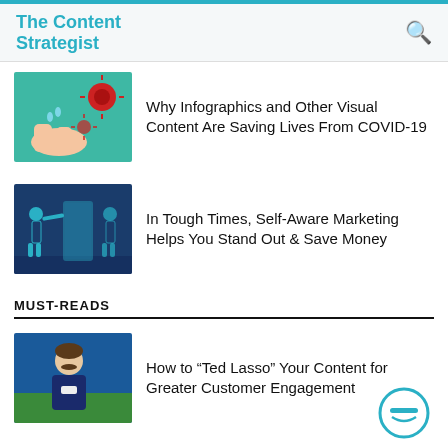The Content Strategist
[Figure (illustration): Illustration of hands washing with soap and red virus particles on teal background]
Why Infographics and Other Visual Content Are Saving Lives From COVID-19
[Figure (illustration): Illustration of businessman looking through telescope at mirror image on dark blue background]
In Tough Times, Self-Aware Marketing Helps You Stand Out & Save Money
MUST-READS
[Figure (photo): Photo of man with mustache in dark blue sweater against stadium background (Ted Lasso)]
How to “Ted Lasso” Your Content for Greater Customer Engagement
[Figure (illustration): Illustration of financial charts and graphs on orange background]
4 Strategies to Make Your Fintech Content More Engaging